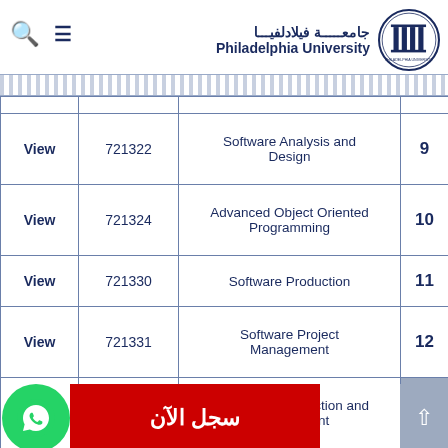جامعة فيلادلفيا — Philadelphia University
| # | Course Name | Code | View |
| --- | --- | --- | --- |
| 9 | Software Analysis and Design | 721322 | View |
| 10 | Advanced Object Oriented Programming | 721324 | View |
| 11 | Software Production | 721330 | View |
| 12 | Software Project Management | 721331 | View |
| 13 | Software Construction and Development |  |  |
| 14 | Software Reengineering | 721421 | View |